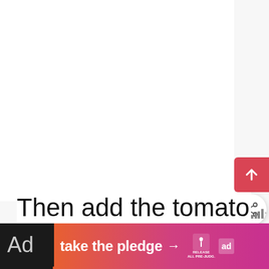[Figure (screenshot): White empty content area taking up top portion of page]
[Figure (other): Red rounded-left button with white upward arrow icon in top right area]
[Figure (other): White circular share button with share icon (< with dots)]
[Figure (other): What's Next card showing thumbnail of food dish with text 'Classic Italian Spaghetti...' and arrow]
Then add the tomato puree and stock.
[Figure (other): Advertisement banner at bottom: 'take the pledge' with arrow, Release logo, ad choice icon, on gradient orange-to-pink background]
Ad                                                pared